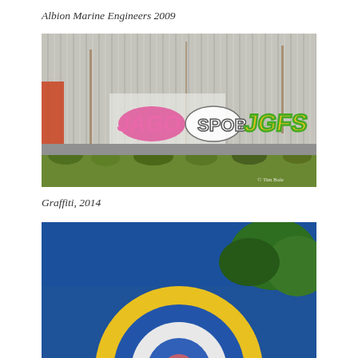Albion Marine Engineers 2009
[Figure (photo): Photograph of corrugated metal wall covered with colourful graffiti tags including pink lettering, white bubble letters, and yellow/green 'JGFS' letters, with weeds growing at the base. Photographer watermark reads 'Tim Bale'.]
Graffiti, 2014
[Figure (photo): Partial photograph of a large circular target/bullseye object with concentric rings in yellow, blue, white and pink against a deep blue sky with green trees visible in the background.]